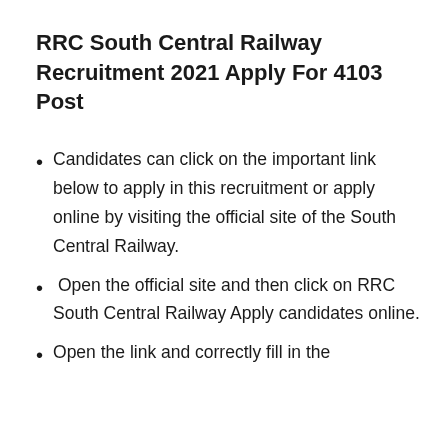RRC South Central Railway Recruitment 2021 Apply For 4103 Post
Candidates can click on the important link below to apply in this recruitment or apply online by visiting the official site of the South Central Railway.
Open the official site and then click on RRC South Central Railway Apply candidates online.
Open the link and correctly fill in the